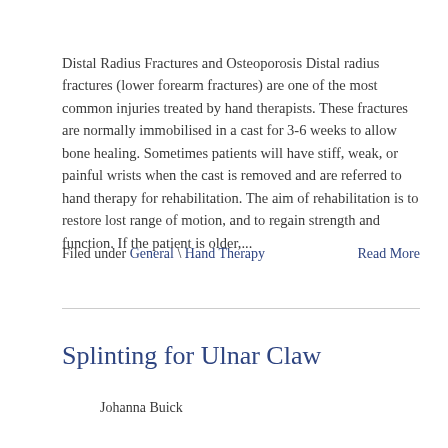Distal Radius Fractures and Osteoporosis Distal radius fractures (lower forearm fractures) are one of the most common injuries treated by hand therapists. These fractures are normally immobilised in a cast for 3-6 weeks to allow bone healing. Sometimes patients will have stiff, weak, or painful wrists when the cast is removed and are referred to hand therapy for rehabilitation. The aim of rehabilitation is to restore lost range of motion, and to regain strength and function. If the patient is older,...
Filed under General \ Hand Therapy
Read More
Splinting for Ulnar Claw
Johanna Buick